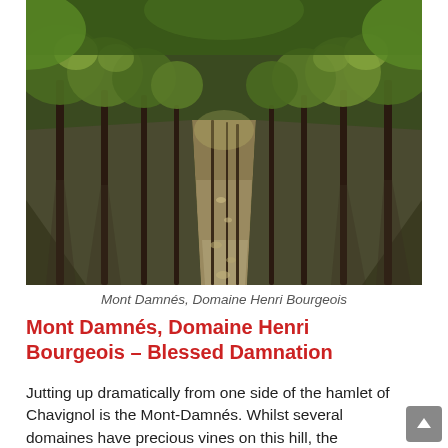[Figure (photo): Aerial/ground-level view of vineyard rows on Mont Damnés, showing vine trunks, rocky soil, and green foliage canopy in bright sunlight. Photo attributed to Domaine Henri Bourgeois.]
Mont Damnés, Domaine Henri Bourgeois
Mont Damnés, Domaine Henri Bourgeois – Blessed Damnation
Jutting up dramatically from one side of the hamlet of Chavignol is the Mont-Damnés. Whilst several domaines have precious vines on this hill, the Bourgeois family owns a sizeable chunk of this particular prime wine real estate, the grapes for which go into the MD appellation, found all along